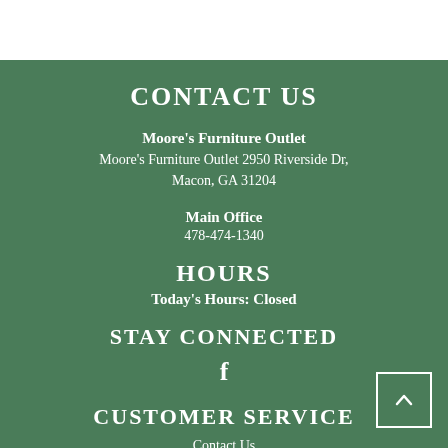CONTACT US
Moore's Furniture Outlet
Moore's Furniture Outlet 2950 Riverside Dr, Macon, GA 31204
Main Office
478-474-1340
HOURS
Today's Hours: Closed
STAY CONNECTED
[Figure (other): Facebook social media icon (letter f)]
CUSTOMER SERVICE
Contact Us